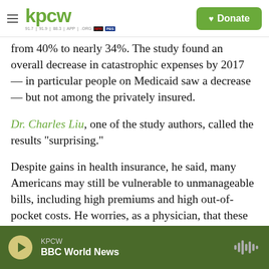KPCW | Donate
from 40% to nearly 34%. The study found an overall decrease in catastrophic expenses by 2017 — in particular people on Medicaid saw a decrease — but not among the privately insured.
Dr. Charles Liu, one of the study authors, called the results "surprising."
Despite gains in health insurance, he said, many Americans may still be vulnerable to unmanageable bills, including high premiums and high out-of-pocket costs. He worries, as a physician, that these costs could discourage people from seeking health care.
KPCW | BBC World News